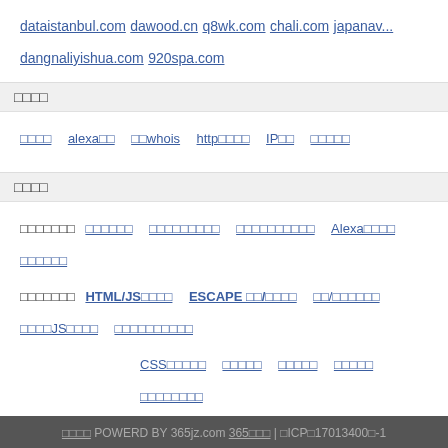dataistanbul.com  dawood.cn  q8wk.com  chali.com  japanav...  dangnaliyishua.com  920spa.com
域名工具
域名查询  alexa查询  中文whois  http状态查询  IP查询  网站备案查询
站长工具
在线工具类  格式转换类  编码转换类  压缩/加密类  Alexa排名类  网络工具类  前端代码类  HTML/JS压缩  ESCAPE 编码/解码  编码/解码工具  在线JS格式化  网页字数统计  CSS压缩工具  字数统计  图片工具  颜色工具  流量趋势图  站长工具类  RSS  外链查询  更多工具类  学习教程类  HTML教程  CSS教程  jQuery 教程  AJAX 教程  JScript教程  PHP教程  MYS...
网站地图 POWERD BY 365jz.com 365建站 | 沪ICP备17013400号-1